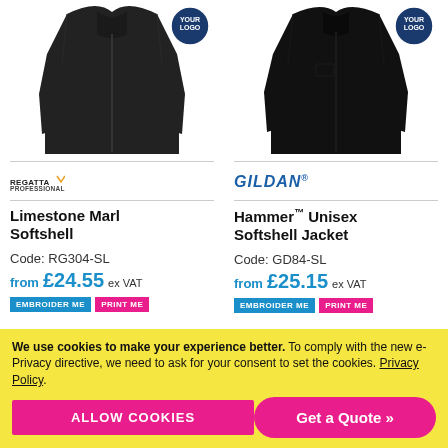[Figure (photo): Black Regatta Professional Limestone Marl Softshell jacket with YOUR LOGO badge overlay in top right]
[Figure (photo): Black Gildan Hammer Unisex Softshell Jacket with YOUR LOGO badge overlay in top right]
REGATTA PROFESSIONAL
GILDAN
Limestone Marl Softshell
Hammer™ Unisex Softshell Jacket
Code: RG304-SL
Code: GD84-SL
from £24.55 ex VAT
from £25.15 ex VAT
EMBROIDER ME  PRINT ME
EMBROIDER ME  PRINT ME
We use cookies to make your experience better. To comply with the new e-Privacy directive, we need to ask for your consent to set the cookies. Privacy Policy.
ALLOW COOKIES
Get a Quote »